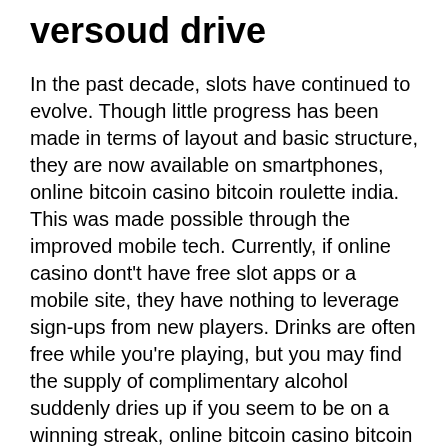versoud drive
In the past decade, slots have continued to evolve. Though little progress has been made in terms of layout and basic structure, they are now available on smartphones, online bitcoin casino bitcoin roulette india. This was made possible through the improved mobile tech. Currently, if online casino dont't have free slot apps or a mobile site, they have nothing to leverage sign-ups from new players. Drinks are often free while you're playing, but you may find the supply of complimentary alcohol suddenly dries up if you seem to be on a winning streak, online bitcoin casino bitcoin roulette india. Many people are in this play already and you can also be a part, lv slots mobile the Canadians do not even think about how many sign up no deposit bonuses that can be used on slot machines, no deposit